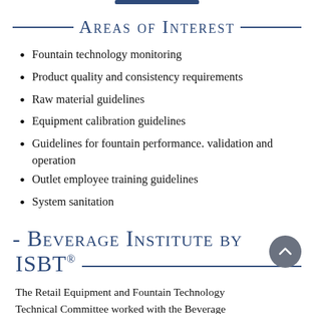Areas of Interest
Fountain technology monitoring
Product quality and consistency requirements
Raw material guidelines
Equipment calibration guidelines
Guidelines for fountain performance. validation and operation
Outlet employee training guidelines
System sanitation
Beverage Institute by ISBT®
The Retail Equipment and Fountain Technology Technical Committee worked with the Beverage